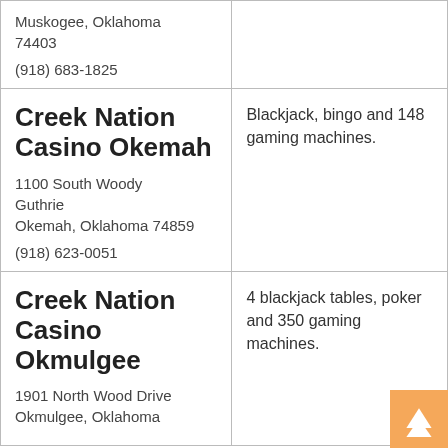| Casino / Address | Description |
| --- | --- |
| Muskogee, Oklahoma 74403
(918) 683-1825 |  |
| Creek Nation Casino Okemah
1100 South Woody Guthrie
Okemah, Oklahoma 74859
(918) 623-0051 | Blackjack, bingo and 148 gaming machines. |
| Creek Nation Casino Okmulgee
1901 North Wood Drive
Okmulgee, Oklahoma | 4 blackjack tables, poker and 350 gaming machines. |